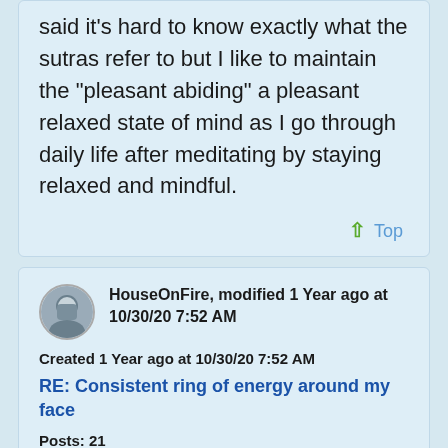said it's hard to know exactly what the sutras refer to but I like to maintain the "pleasant abiding" a pleasant relaxed state of mind as I go through daily life after meditating by staying relaxed and mindful.
↑ Top
HouseOnFire, modified 1 Year ago at 10/30/20 7:52 AM
Created 1 Year ago at 10/30/20 7:52 AM
RE: Consistent ring of energy around my face
Posts: 21
Join Date: 10/29/20
Recent Posts